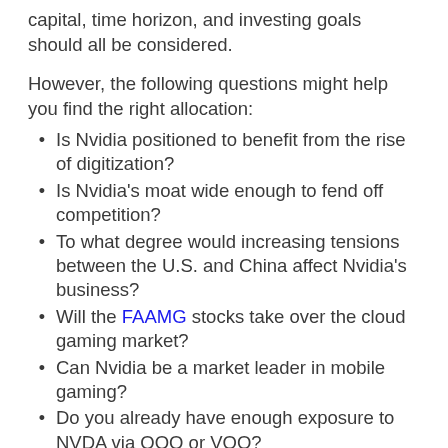capital, time horizon, and investing goals should all be considered.
However, the following questions might help you find the right allocation:
Is Nvidia positioned to benefit from the rise of digitization?
Is Nvidia's moat wide enough to fend off competition?
To what degree would increasing tensions between the U.S. and China affect Nvidia's business?
Will the FAAMG stocks take over the cloud gaming market?
Can Nvidia be a market leader in mobile gaming?
Do you already have enough exposure to NVDA via QQQ or VOO?
Are there better pure-play AI investments elsewhere?
How can the market accurately price in AI